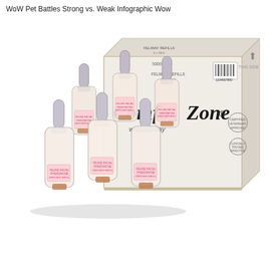WoW Pet Battles Strong vs. Weak Infographic Wow
[Figure (photo): Product photo of Comfort Zone with Feliway refill bottles (6 count) shown in front of and beside a white cardboard box labeled 'Comfort Zone with Feliway'. Six small clear glass/plastic dropper bottles with grey caps are arranged in two rows in front of the box.]